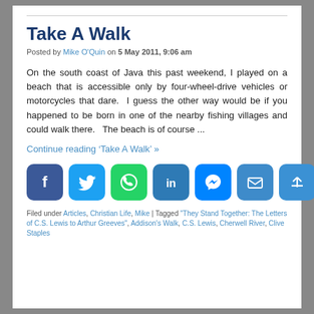Take A Walk
Posted by Mike O'Quin on 5 May 2011, 9:06 am
On the south coast of Java this past weekend, I played on a beach that is accessible only by four-wheel-drive vehicles or motorcycles that dare.  I guess the other way would be if you happened to be born in one of the nearby fishing villages and could walk there.   The beach is of course ...
Continue reading ‘Take A Walk’ »
[Figure (infographic): Social sharing buttons: Facebook, Twitter, WhatsApp, LinkedIn, Messenger, Email, Share]
Filed under Articles, Christian Life, Mike | Tagged "They Stand Together: The Letters of C.S. Lewis to Arthur Greeves", Addison's Walk, C.S. Lewis, Cherwell River, Clive Staples